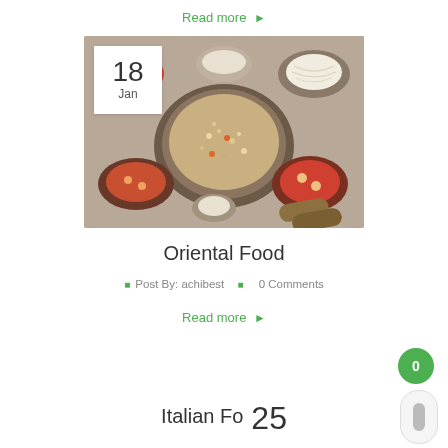Read more →
[Figure (photo): Overhead shot of multiple Asian dishes including fried rice in a wok, noodle soup bowls, rice noodles, and spring rolls arranged on a table]
Oriental Food
Post By: achibest   0 Comments
Read more →
Italian Fo   25